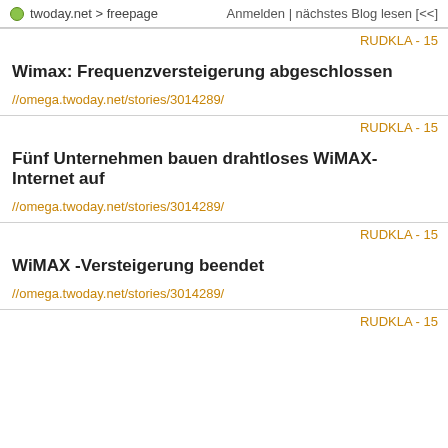twoday.net > freepage   Anmelden | nächstes Blog lesen [<<]
RUDKLA - 15
Wimax: Frequenzversteigerung abgeschlossen
//omega.twoday.net/stories/3014289/
RUDKLA - 15
Fünf Unternehmen bauen drahtloses WiMAX-Internet auf
//omega.twoday.net/stories/3014289/
RUDKLA - 15
WiMAX -Versteigerung beendet
//omega.twoday.net/stories/3014289/
RUDKLA - 15